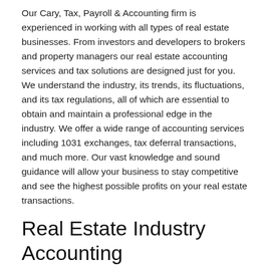Our Cary, Tax, Payroll & Accounting firm is experienced in working with all types of real estate businesses. From investors and developers to brokers and property managers our real estate accounting services and tax solutions are designed just for you. We understand the industry, its trends, its fluctuations, and its tax regulations, all of which are essential to obtain and maintain a professional edge in the industry. We offer a wide range of accounting services including 1031 exchanges, tax deferral transactions, and much more. Our vast knowledge and sound guidance will allow your business to stay competitive and see the highest possible profits on your real estate transactions.
Real Estate Industry Accounting
Discover how our accounting services and tax strategies can benefit your real estate business. Call us now at 919-349-5414 or request a free consultation to find out what we do for you.